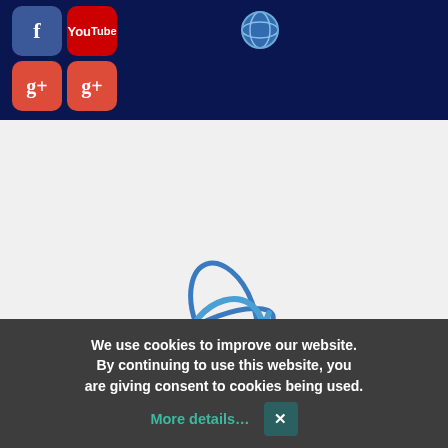[Figure (screenshot): Website header with dark navy background containing social media icons (Facebook, YouTube, Google+, another Google+) and a globe icon]
[Figure (logo): Logo bar with gray background showing 'en logo2' text with small image placeholder]
[Figure (screenshot): Navigation bar with hamburger menu icon on dark gray background]
[Figure (logo): Blue orbit/planet logo icon centered in main content area]
We use cookies to improve our website. By continuing to use this website, you are giving consent to cookies being used.
More details…
✕